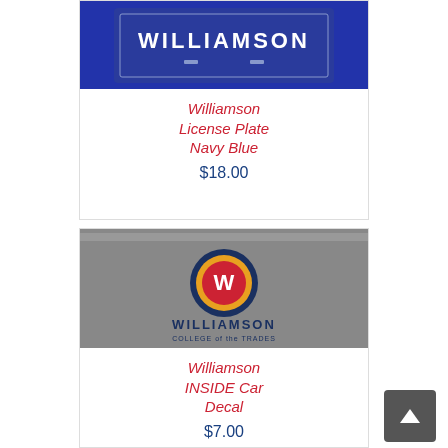[Figure (photo): Navy blue Williamson license plate with white WILLIAMSON text]
Williamson License Plate Navy Blue
$18.00
[Figure (logo): Williamson College of the Trades logo on gray background with gear emblem and red W]
Williamson INSIDE Car Decal
$7.00